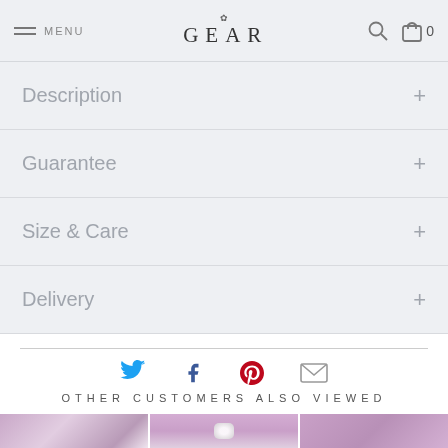MENU | GEAR | 0
Description +
Guarantee +
Size & Care +
Delivery +
[Figure (infographic): Social sharing icons: Twitter (blue bird), Facebook (blue f), Pinterest (red P), Email (envelope)]
OTHER CUSTOMERS ALSO VIEWED
[Figure (photo): Three product thumbnail photos showing jewelry items on a purple/mauve background]